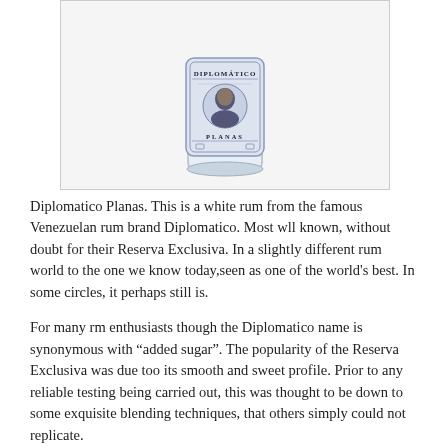[Figure (photo): A glass tumbler/lowball glass with a Diplomatico Planas white rum label showing a portrait of a man. The label reads DIPLOMATICO at top and PLANAS at the bottom of the label.]
Diplomatico Planas. This is a white rum from the famous Venezuelan rum brand Diplomatico. Most wll known, without doubt for their Reserva Exclusiva. In a slightly different rum world to the one we know today,seen as one of the world's best. In some circles, it perhaps still is.
For many rm enthusiasts though the Diplomatico name is synonymous with “added sugar”. The popularity of the Reserva Exclusiva was due too its smooth and sweet profile. Prior to any reliable testing being carried out, this was thought to be down to some exquisite blending techniques, that others simply could not replicate.